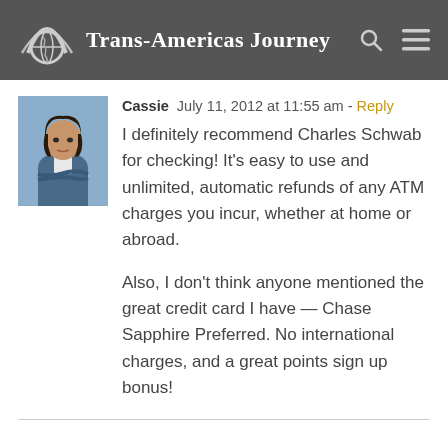Trans-Americas Journey
[Figure (photo): Avatar photo of commenter Cassie, a woman with dark hair, wearing a denim jacket, arms crossed]
Cassie  July 11, 2012 at 11:55 am - Reply
I definitely recommend Charles Schwab for checking! It's easy to use and unlimited, automatic refunds of any ATM charges you incur, whether at home or abroad.

Also, I don't think anyone mentioned the great credit card I have — Chase Sapphire Preferred. No international charges, and a great points sign up bonus!